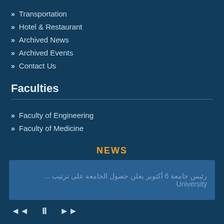Transportation
Hotel & Restaurant
Archived News
Archived Events
Contact Us
Faculties
Faculty of Engineering
Faculty of Medicine
NEWS
رئيس جامعة 6 أكتوبر يعلن حصول الجامعة على ترتيب ... University